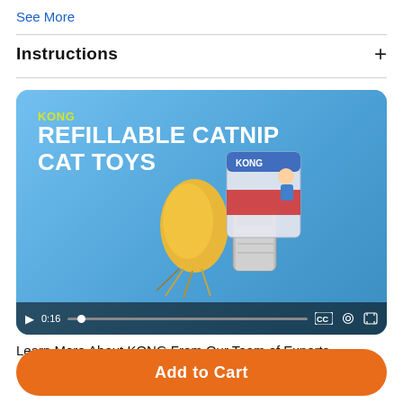See More
Instructions
[Figure (screenshot): Video thumbnail for KONG Refillable Catnip Cat Toys showing the product (a catnip toy and refillable container) on a blue background with KONG branding. Video controls show 0:16 timestamp.]
Learn More About KONG From Our Team of Experts
Add to Cart